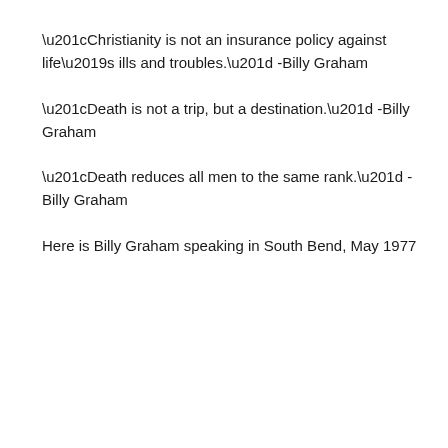“Christianity is not an insurance policy against life’s ills and troubles.” -Billy Graham
“Death is not a trip, but a destination.” -Billy Graham
“Death reduces all men to the same rank.” -Billy Graham
Here is Billy Graham speaking in South Bend, May 1977